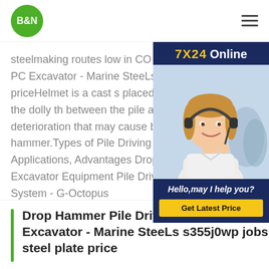B&N
steelmaking routes low in CO 2 . Drop Driver for PC Excavator - Marine SteeLs jobs steel plate priceHelmet is a cast s placed over the pile to hold the dolly th between the pile and the hammer to av deterioration that may cause by pile dr hammer.Types of Pile Driving Equipme Applications, Advantages Drop Hamme for PC Excavator Equipment Pile Driving Analyzer (PDA) System - G-Octopus
[Figure (photo): Customer service representative advertisement widget with '7X24 Online' header, photo of woman with headset, 'Hello, may I help you?' text, and 'Get Latest Price' yellow button]
Drop Hammer Pile Driver for PC Excavator - Marine SteeLs s355j0wp jobs steel plate price